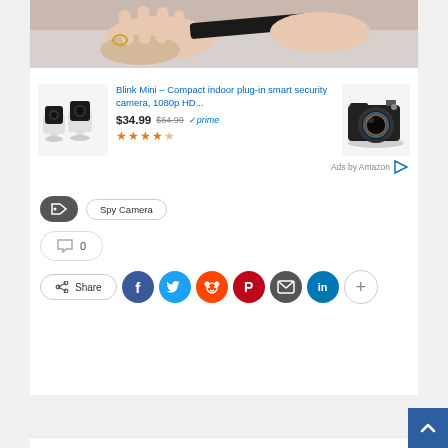[Figure (photo): Close-up photo of hands holding a small black device, possibly a spy camera or USB drive]
[Figure (other): Amazon advertisement block featuring Blink Mini compact indoor plug-in smart security camera 2-pack on left and DSLR camera on right. Price shown as $34.99 (original $64.99) with Prime badge and 4.5 star rating.]
Ads by Amazon
Spy Camera
0
Share